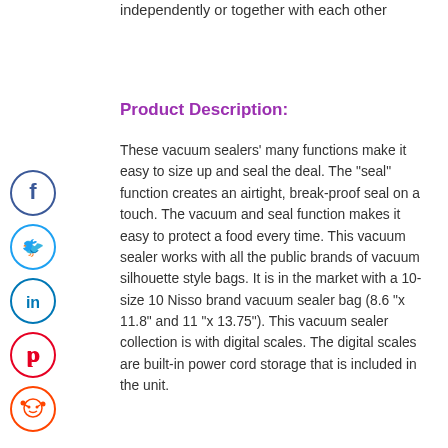independently or together with each other
Product Description:
These vacuum sealers' many functions make it easy to size up and seal the deal. The “seal” function creates an airtight, break-proof seal on a touch. The vacuum and seal function makes it easy to protect a food every time. This vacuum sealer works with all the public brands of vacuum silhouette style bags. It is in the market with a 10-size 10 Nisso brand vacuum sealer bag (8.6 “x 11.8” and 11 “x 13.75”). This vacuum sealer collection is with digital scales. The digital scales are built-in power cord storage that is included in the unit.